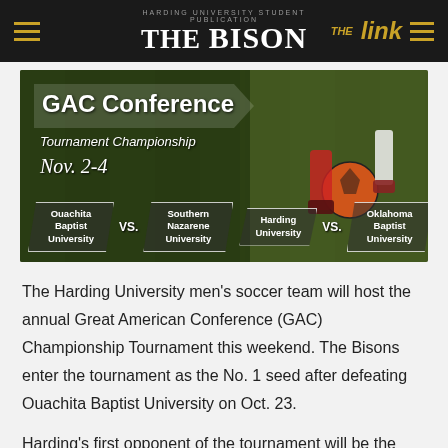THE BISON | THE link
[Figure (photo): GAC Conference Tournament Championship banner with soccer action photo. Text reads: GAC Conference Tournament Championship, Nov. 2-4. Matchups: Ouachita Baptist University VS. Southern Nazarene University | Harding University VS. Oklahoma Baptist University]
The Harding University men's soccer team will host the annual Great American Conference (GAC) Championship Tournament this weekend. The Bisons enter the tournament as the No. 1 seed after defeating Ouachita Baptist University on Oct. 23.
Harding's first opponent of the tournament will be the four seed, Oklahoma Baptist University (OKBU), at 7 p.m. Harding beat OKBU twice during the regular season by a combined five goals. Should Harding win tonight, they will play the winner of the game